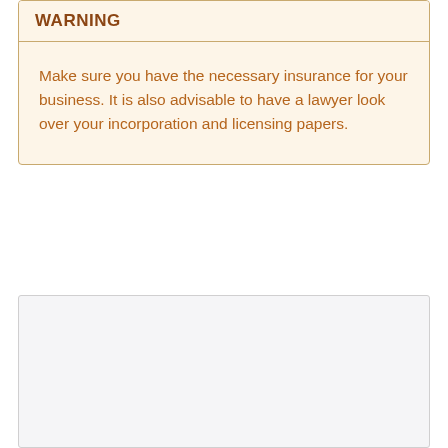WARNING
Make sure you have the necessary insurance for your business. It is also advisable to have a lawyer look over your incorporation and licensing papers.
[Figure (other): Empty light-gray bordered box, possibly a placeholder for an image or additional content]